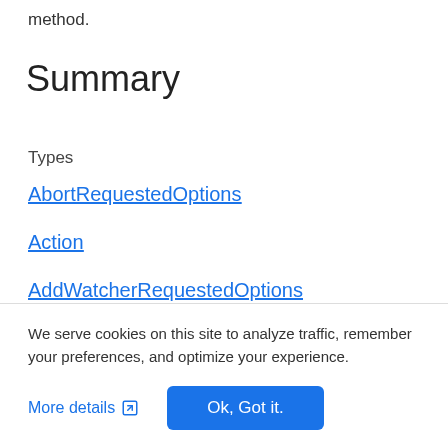method.
Summary
Types
AbortRequestedOptions
Action
AddWatcherRequestedOptions
Change
ChangeType
CloseFileRequestedOptions
We serve cookies on this site to analyze traffic, remember your preferences, and optimize your experience.
More details
Ok, Got it.